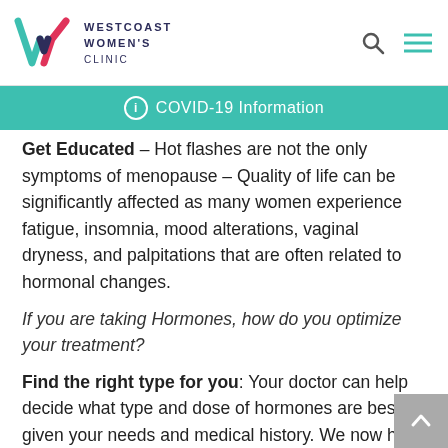WESTCOAST WOMEN'S CLINIC
ⓘ COVID-19 Information
Get Educated – Hot flashes are not the only symptoms of menopause – Quality of life can be significantly affected as many women experience fatigue, insomnia, mood alterations, vaginal dryness, and palpitations that are often related to hormonal changes.
If you are taking Hormones, how do you optimize your treatment?
Find the right type for you: Your doctor can help decide what type and dose of hormones are best given your needs and medical history. We now have many more choices in tailoring therapy.